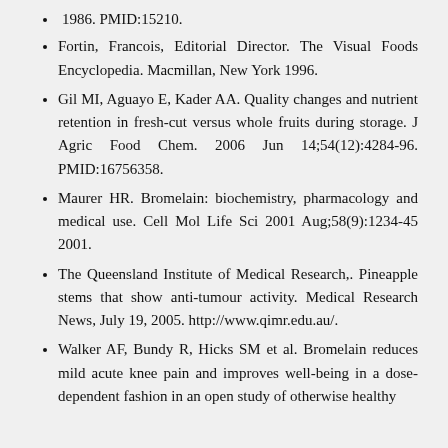1986. PMID:15210.
Fortin, Francois, Editorial Director. The Visual Foods Encyclopedia. Macmillan, New York 1996.
Gil MI, Aguayo E, Kader AA. Quality changes and nutrient retention in fresh-cut versus whole fruits during storage. J Agric Food Chem. 2006 Jun 14;54(12):4284-96. PMID:16756358.
Maurer HR. Bromelain: biochemistry, pharmacology and medical use. Cell Mol Life Sci 2001 Aug;58(9):1234-45 2001.
The Queensland Institute of Medical Research,. Pineapple stems that show anti-tumour activity. Medical Research News, July 19, 2005. http://www.qimr.edu.au/.
Walker AF, Bundy R, Hicks SM et al. Bromelain reduces mild acute knee pain and improves well-being in a dose-dependent fashion in an open study of otherwise healthy